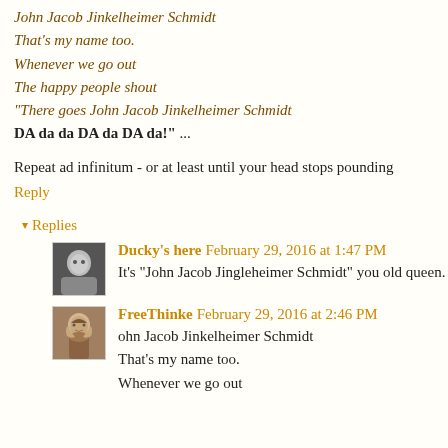John Jacob Jinkelheimer Schmidt
That's my name too.
Whenever we go out
The happy people shout
"There goes John Jacob Jinkelheimer Schmidt
DA da da DA da DA da!" ...
Repeat ad infinitum - or at least until your head stops pounding
Reply
▾ Replies
Ducky's here February 29, 2016 at 1:47 PM
It's "John Jacob Jingleheimer Schmidt" you old queen.
FreeThinke February 29, 2016 at 2:46 PM
ohn Jacob Jinkelheimer Schmidt
That's my name too.
Whenever we go out